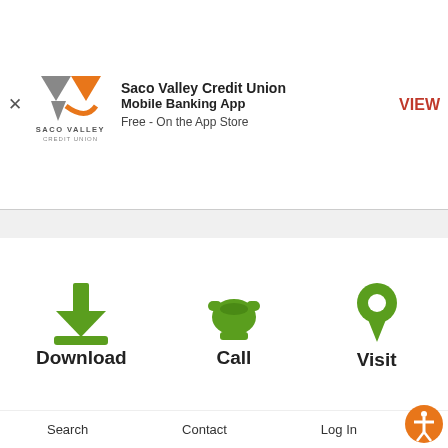[Figure (logo): Saco Valley Credit Union logo with stylized S mark in gray and orange]
Saco Valley Credit Union
Mobile Banking App
Free - On the App Store
VIEW
[Figure (infographic): Three icons in green: Download (arrow with tray), Call (telephone), Visit (map pin), each with bold label below]
Search   Contact   Log In